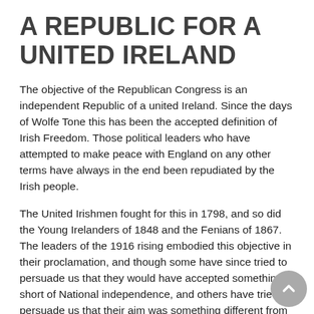A REPUBLIC FOR A UNITED IRELAND
The objective of the Republican Congress is an independent Republic of a united Ireland. Since the days of Wolfe Tone this has been the accepted definition of Irish Freedom. Those political leaders who have attempted to make peace with England on any other terms have always in the end been repudiated by the Irish people.
The United Irishmen fought for this in 1798, and so did the Young Irelanders of 1848 and the Fenians of 1867. The leaders of the 1916 rising embodied this objective in their proclamation, and though some have since tried to persuade us that they would have accepted something short of National independence, and others have tried to persuade us that their aim was something different from the unity of the nation according to Tone's definition of it, still I think we can most safely look for their objective in